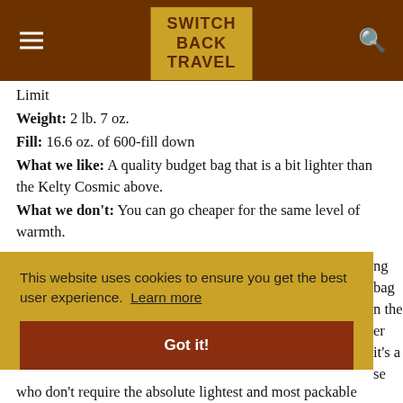SWITCH BACK TRAVEL
Limit
Weight: 2 lb. 7 oz.
Fill: 16.6 oz. of 600-fill down
What we like: A quality budget bag that is a bit lighter than the Kelty Cosmic above.
What we don't: You can go cheaper for the same level of warmth.
ng bag ... n the ... er ... it's a ... se who don't require the absolute lightest and most packable
This website uses cookies to ensure you get the best user experience. Learn more
Got it!